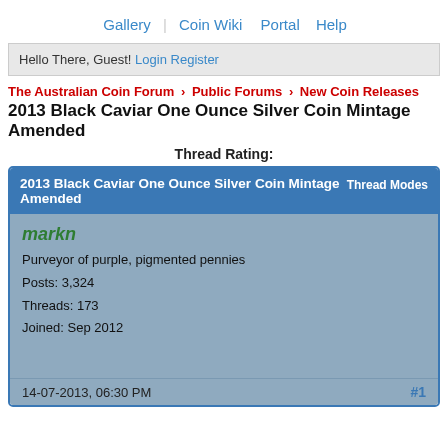Gallery  Coin Wiki  Portal  Help
Hello There, Guest! Login Register
The Australian Coin Forum › Public Forums › New Coin Releases
2013 Black Caviar One Ounce Silver Coin Mintage Amended
Thread Rating:
2013 Black Caviar One Ounce Silver Coin Mintage Amended   Thread Modes
markn
Purveyor of purple, pigmented pennies
Posts: 3,324
Threads: 173
Joined: Sep 2012
14-07-2013, 06:30 PM  #1